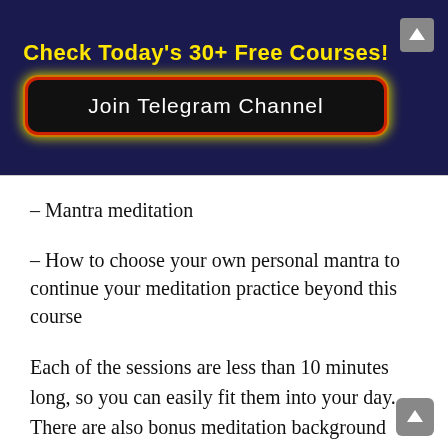Check Today's 30+ Free Courses!
[Figure (screenshot): Join Telegram Channel button with glowing border on dark navy background]
– Mantra meditation
– How to choose your own personal mantra to continue your meditation practice beyond this course
Each of the sessions are less than 10 minutes long, so you can easily fit them into your day. There are also bonus meditation background tracks at the end of the course so that you can guide yourself through a meditation once you've learned some of the techniques!
You don't need any previous meditation experience, or any special equipment – simply show up with your body and